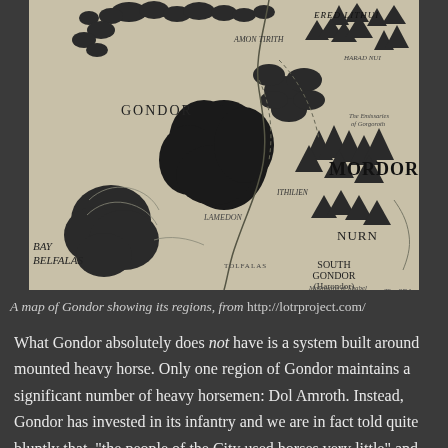[Figure (map): A black and white map of Gondor and surrounding regions including Mordor, Nurn, South Gondor (Harondor), Bay of Belfalas, Ered Lithui, showing forests, mountains, rivers, and region labels.]
A map of Gondor showing its regions, from http://lotrproject.com/
What Gondor absolutely does not have is a system built around mounted heavy horse. Only one region of Gondor maintains a significant number of heavy horsemen: Dol Amroth. Instead, Gondor has invested in its infantry and we are in fact told quite bluntly that, "the people of the City used horses very little" and